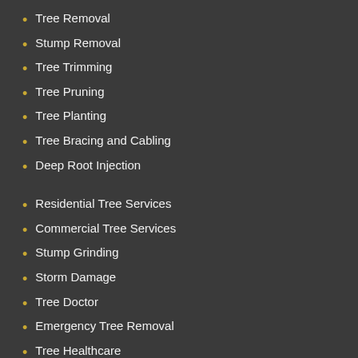Tree Removal
Stump Removal
Tree Trimming
Tree Pruning
Tree Planting
Tree Bracing and Cabling
Deep Root Injection
Residential Tree Services
Commercial Tree Services
Stump Grinding
Storm Damage
Tree Doctor
Emergency Tree Removal
Tree Healthcare
Land Clearing
Tree Assessments